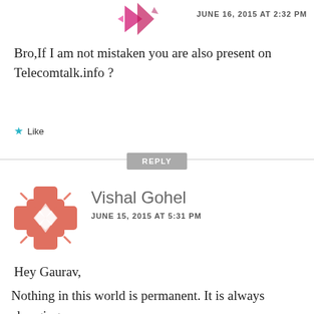[Figure (logo): Pink/magenta geometric arrow avatar icon (partially visible at top)]
JUNE 16, 2015 AT 2:32 PM
Bro,If I am not mistaken you are also present on Telecomtalk.info ?
Like
REPLY
[Figure (logo): Salmon/coral colored cross/bandage style avatar icon for Vishal Gohel]
Vishal Gohel
JUNE 15, 2015 AT 5:31 PM
Hey Gaurav,
Nothing in this world is permanent. It is always changing.